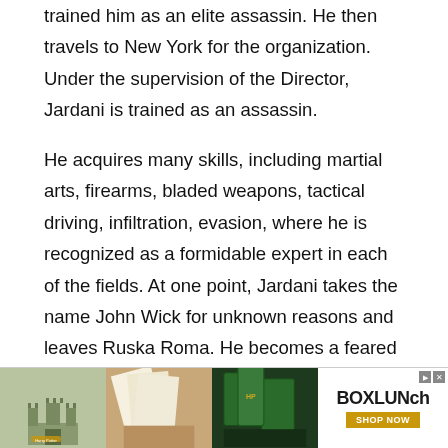trained him as an elite assassin. He then travels to New York for the organization. Under the supervision of the Director, Jardani is trained as an assassin.
He acquires many skills, including martial arts, firearms, bladed weapons, tactical driving, infiltration, evasion, where he is recognized as a formidable expert in each of the fields. At one point, Jardani takes the name John Wick for unknown reasons and leaves Ruska Roma. He becomes a feared and ruthless hitman his targets call Baba Yaga, in reference to a figure from Russian tales.
[Figure (other): Advertisement banner for BoxLunch showing Harry Potter themed merchandise including castle figurines, playing cards, and green books. BoxLunch logo with 'SHOP NOW' button on the right.]